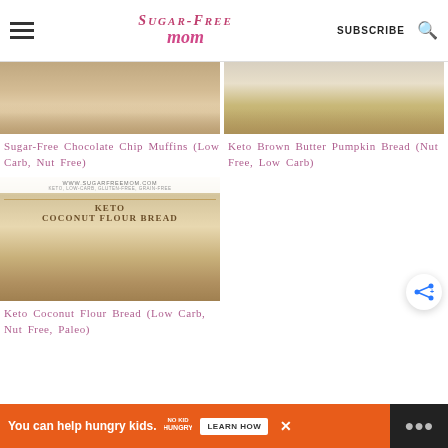Sugar-Free Mom — SUBSCRIBE
[Figure (photo): Top portion of a chocolate chip muffin on a plate, partially cropped]
Sugar-Free Chocolate Chip Muffins (Low Carb, Nut Free)
[Figure (photo): Top portion of keto brown butter pumpkin bread loaf, partially cropped]
Keto Brown Butter Pumpkin Bread (Nut Free, Low Carb)
[Figure (photo): Keto Coconut Flour Bread with text overlay: www.sugarfreemom.com, KETO, LOW-CARB, GLUTEN-FREE, GRAIN-FREE, KETO COCONUT FLOUR BREAD]
Keto Coconut Flour Bread (Low Carb, Nut Free, Paleo)
You can help hungry kids. NO KID HUNGRY LEARN HOW